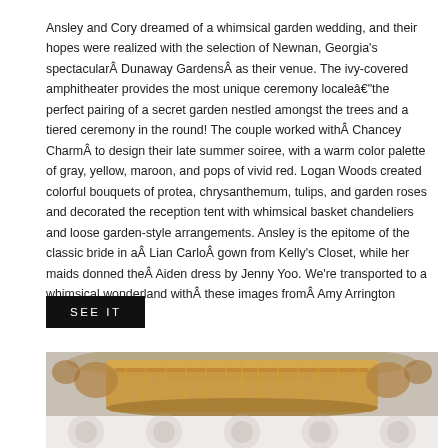Ansley and Cory dreamed of a whimsical garden wedding, and their hopes were realized with the selection of Newnan, Georgia's spectacularÂ Dunaway GardensÂ as their venue. The ivy-covered amphitheater provides the most unique ceremony localeâ€“the perfect pairing of a secret garden nestled amongst the trees and a tiered ceremony in the round! The couple worked withÂ Chancey CharmÂ to design their late summer soiree, with a warm color palette of gray, yellow, maroon, and pops of vivid red. Logan Woods created colorful bouquets of protea, chrysanthemum, tulips, and garden roses and decorated the reception tent with whimsical basket chandeliers and loose garden-style arrangements. Ansley is the epitome of the classic bride in aÂ Lian CarloÂ gown from Kelly’s Closet, while her maids donned theÂ Aiden dress by Jenny Yoo. We’re transported to a whimsical wonderland withÂ these images fromÂ Amy Arrington Photography!
SEE IT
[Figure (photo): Photo of an ornate chandelier, gold/amber colored with crystal details, photographed from below against a gray background. The bottom portion shows a faded watermark area with circular logo marks.]